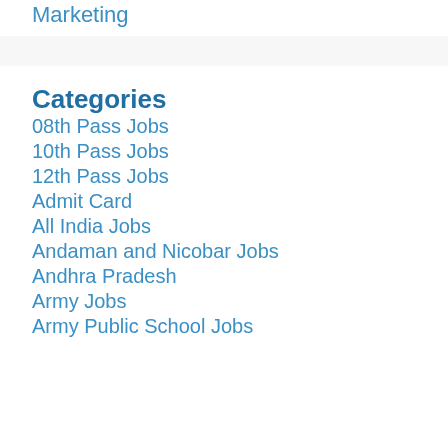Marketing
Categories
08th Pass Jobs
10th Pass Jobs
12th Pass Jobs
Admit Card
All India Jobs
Andaman and Nicobar Jobs
Andhra Pradesh
Army Jobs
Army Public School Jobs